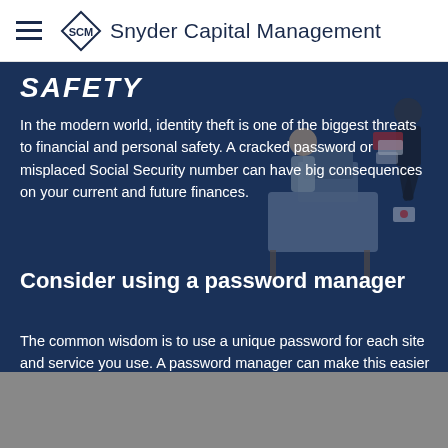Snyder Capital Management
SAFETY
In the modern world, identity theft is one of the biggest threats to financial and personal safety. A cracked password or misplaced Social Security number can have big consequences on your current and future finances.
[Figure (illustration): Illustration showing a person at a desk with a computer and a thief carrying stolen documents]
Consider using a password manager
The common wisdom is to use a unique password for each site and service you use. A password manager can make this easier by generating and